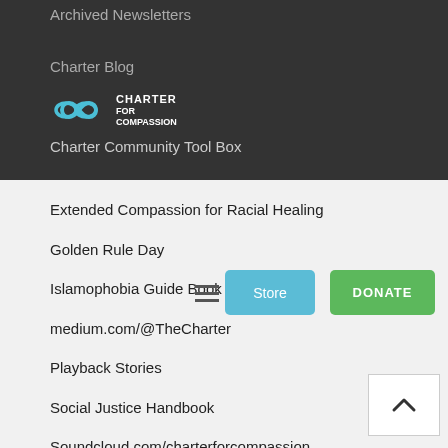Archived Newsletters
Charter Blog
Charter Community Tool Box
Extended Compassion for Racial Healing
Golden Rule Day
Islamophobia Guide Book
medium.com/@TheCharter
Playback Stories
Social Justice Handbook
Soundcloud.com/charterforcompassion
Spiritual Assets for Community Building
Waging Peace
What Makes a Compassionate City?
Webithon
YouTube